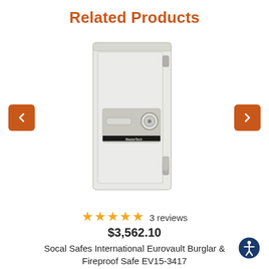Related Products
[Figure (photo): White tall floor safe (Socal Safes International Eurovault Burglar & Fireproof Safe EV15-3417) with combination dial lock and handle, navigation arrows on left and right sides]
★★★★★ 3 reviews
$3,562.10
Socal Safes International Eurovault Burglar & Fireproof Safe EV15-3417